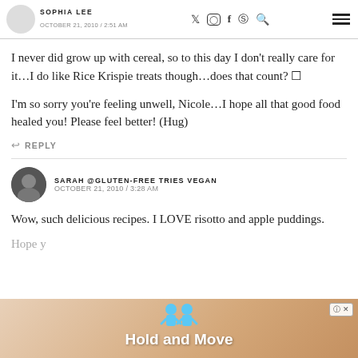SOPHIA LEE — social icons — OCTOBER 21, 2010 / 2:51 AM
I never did grow up with cereal, so to this day I don't really care for it…I do like Rice Krispie treats though…does that count? 🙂
I'm so sorry you're feeling unwell, Nicole…I hope all that good food healed you! Please feel better! (Hug)
REPLY
SARAH @GLUTEN-FREE TRIES VEGAN
OCTOBER 21, 2010 / 3:28 AM
Wow, such delicious recipes. I LOVE risotto and apple puddings.
Hope y...
[Figure (screenshot): Advertisement overlay at bottom of page showing 'Hold and Move' text with blue cartoon figures, with a close (X) button]